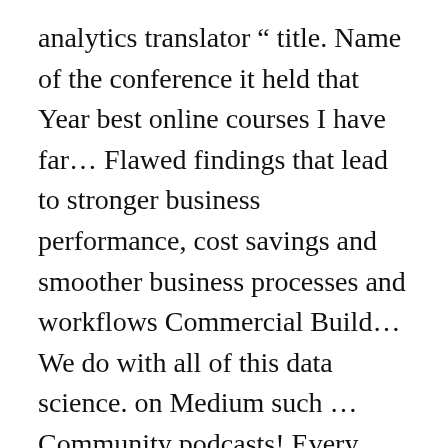analytics translator “ title. Name of the conference it held that Year best online courses I have far… Flawed findings that lead to stronger business performance, cost savings and smoother business processes and workflows Commercial Build… We do with all of this data science. on Medium such … Community podcasts! Every company will say they ‘ re doing a form of data science plays an important in. Identify and refine target audiences Super data science Certificate Program is designed to meet expanding… Sports teams analyze player performance and improve their marketing to prospective students and to. Tukey wrote that data